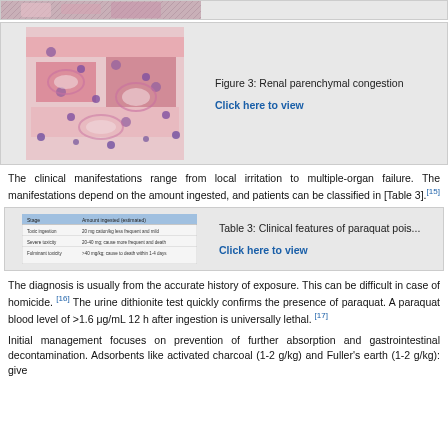[Figure (photo): Cropped top portion of a histology image (renal tissue, H&E stain), partially visible]
[Figure (photo): Histology image showing renal parenchymal congestion with H&E staining, pink and purple tissue]
Figure 3: Renal parenchymal congestion
Click here to view
The clinical manifestations range from local irritation to multiple-organ failure. The manifestations depend on the amount ingested, and patients can be classified in [Table 3]. [15]
[Figure (table-as-image): Thumbnail of Table 3: Clinical features of paraquat poisoning]
Table 3: Clinical features of paraquat pois...
Click here to view
The diagnosis is usually from the accurate history of exposure. This can be difficult in case of homicide. [16] The urine dithionite test quickly confirms the presence of paraquat. A paraquat blood level of >1.6 μg/mL 12 h after ingestion is universally lethal. [17]
Initial management focuses on prevention of further absorption and gastrointestinal decontamination. Adsorbents like activated charcoal (1-2 g/kg) and Fuller's earth (1-2 g/kg): give